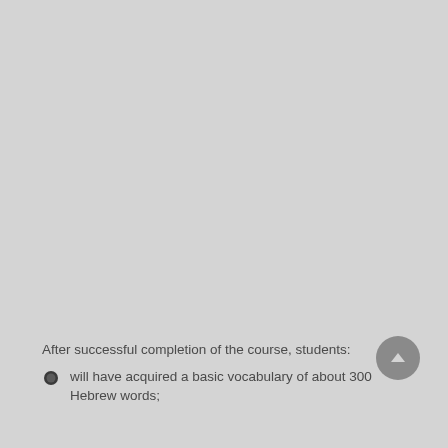After successful completion of the course, students:
will have acquired a basic vocabulary of about 300 Hebrew words;